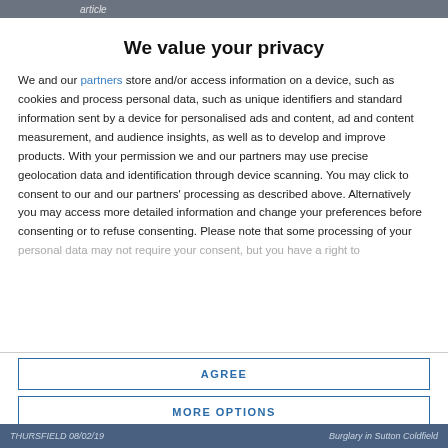article
We value your privacy
We and our partners store and/or access information on a device, such as cookies and process personal data, such as unique identifiers and standard information sent by a device for personalised ads and content, ad and content measurement, and audience insights, as well as to develop and improve products. With your permission we and our partners may use precise geolocation data and identification through device scanning. You may click to consent to our and our partners' processing as described above. Alternatively you may access more detailed information and change your preferences before consenting or to refuse consenting. Please note that some processing of your personal data may not require your consent, but you have a right to
AGREE
MORE OPTIONS
THURSFIELD 08/02/19   Burglary in Sutton Coldfield